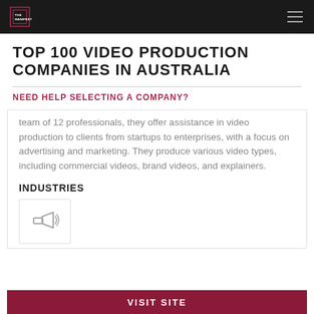THE MANIFEST
TOP 100 VIDEO PRODUCTION COMPANIES IN AUSTRALIA
NEED HELP SELECTING A COMPANY?
team of 12 professionals, they offer assistance in video production to clients from startups to enterprises, with a focus on advertising and marketing. They produce various video types, including commercial videos, brand videos, and explainers.
INDUSTRIES
[Figure (illustration): Megaphone / advertising icon in gray]
VISIT SITE